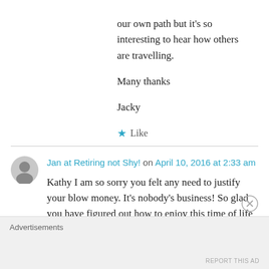our own path but it's so interesting to hear how others are travelling.
Many thanks
Jacky
Like
Jan at Retiring not Shy! on April 10, 2016 at 2:33 am
Kathy I am so sorry you felt any need to justify your blow money. It's nobody's business! So glad you have figured out how to enjoy this time of life to the fullest. If we can't do that at our age then when can we. It's unfortunate that others
Advertisements